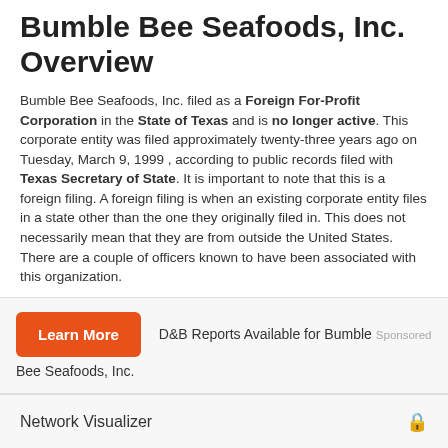Bumble Bee Seafoods, Inc. Overview
Bumble Bee Seafoods, Inc. filed as a Foreign For-Profit Corporation in the State of Texas and is no longer active. This corporate entity was filed approximately twenty-three years ago on Tuesday, March 9, 1999 , according to public records filed with Texas Secretary of State. It is important to note that this is a foreign filing. A foreign filing is when an existing corporate entity files in a state other than the one they originally filed in. This does not necessarily mean that they are from outside the United States. There are a couple of officers known to have been associated with this organization.
Learn More  D&B Reports Available for Bumble Bee Seafoods, Inc.  Sponsored
Network Visualizer